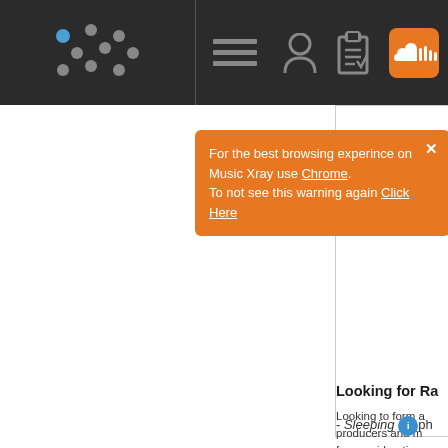[Figure (screenshot): Music Xray web application screenshot showing dark navigation bar with dot-grid logo, hamburger menu, user icon, clipboard icon, and SoundCloud icon. An orange popup notification reads: 'For the best browsing experince on Music Xray use Chrome. To not see this warning again Click Here.' with a close X button. Right panel shows Sleeping Elephant Entertainment logo and partial text: 'Looking for Ra...' with body text about talent management.]
For the best browsing experince on Music Xray use Chrome. To not see this warning again Click Here.
Looking for Ra
Looking to form a producers and m for consideration
A Talent Manage marketing and e mission is to ide the flow of multip focus on multiple
- Sleeping  ph